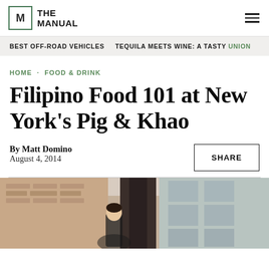THE MANUAL
BEST OFF-ROAD VEHICLES · TEQUILA MEETS WINE: A TASTY UNION
HOME · FOOD & DRINK
Filipino Food 101 at New York's Pig & Khao
By Matt Domino
August 4, 2014
[Figure (photo): Photo of a person outdoors, brick building in background]